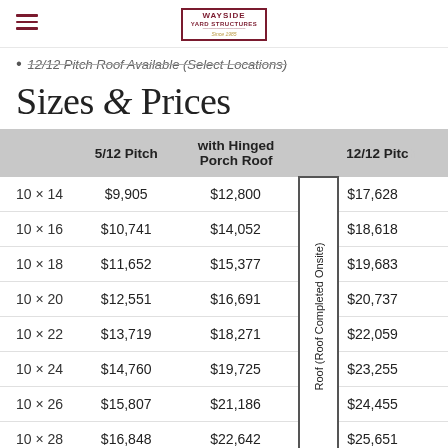Wayside Yard Structures
12/12 Pitch Roof Available (Select Locations)
Sizes & Prices
|  | 5/12 Pitch | with Hinged Porch Roof |  | 12/12 Pitch |
| --- | --- | --- | --- | --- |
| 10 x 14 | $9,905 | $12,800 |  | $17,628 |
| 10 x 16 | $10,741 | $14,052 |  | $18,618 |
| 10 x 18 | $11,652 | $15,377 |  | $19,683 |
| 10 x 20 | $12,551 | $16,691 |  | $20,737 |
| 10 x 22 | $13,719 | $18,271 |  | $22,059 |
| 10 x 24 | $14,760 | $19,725 |  | $23,255 |
| 10 x 26 | $15,807 | $21,186 |  | $24,455 |
| 10 x 28 | $16,848 | $22,642 |  | $25,651 |